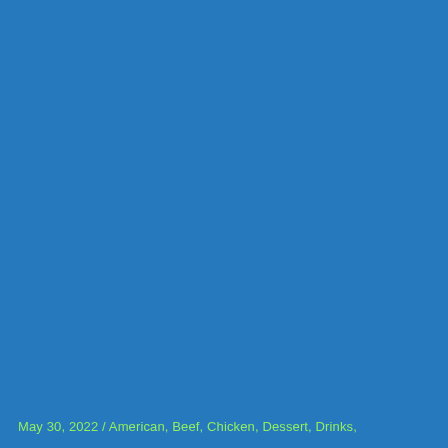May 30, 2022  /  American, Beef, Chicken, Dessert, Drinks,